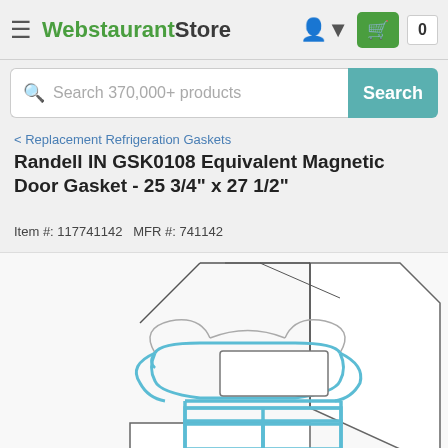WebstaurantStore
Search 370,000+ products
< Replacement Refrigeration Gaskets
Randell IN GSK0108 Equivalent Magnetic Door Gasket - 25 3/4" x 27 1/2"
Item #: 117741142   MFR #: 741142
[Figure (engineering-diagram): Cross-section technical diagram of a magnetic door gasket showing the gasket profile with blue-highlighted magnetic insert channel, rubber sealing bulbs, and mounting channel at the bottom. The gasket cross-section illustrates how it fits against a refrigerator door frame.]